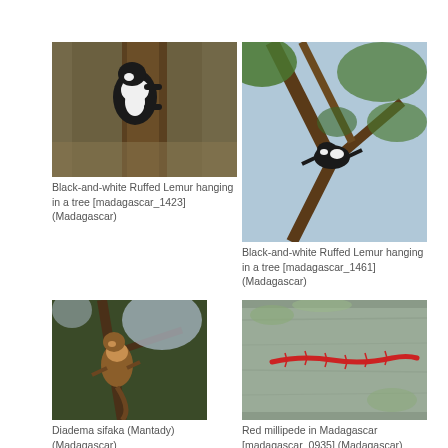[Figure (photo): Black-and-white Ruffed Lemur hanging in a tree, clinging to trunk, forest background]
Black-and-white Ruffed Lemur hanging in a tree [madagascar_1423] (Madagascar)
[Figure (photo): Black-and-white Ruffed Lemur hanging in a tree, view looking up through forest canopy]
Black-and-white Ruffed Lemur hanging in a tree [madagascar_1461] (Madagascar)
[Figure (photo): Diadema sifaka (Mantady) lemur in a tree, brown fur, sitting in branches]
Diadema sifaka (Mantady) (Madagascar)
[Figure (photo): Red millipede on a grey wooden surface in Madagascar]
Red millipede in Madagascar [madagascar_0935] (Madagascar)